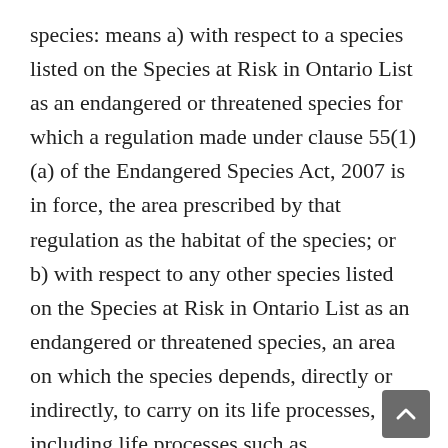species: means a) with respect to a species listed on the Species at Risk in Ontario List as an endangered or threatened species for which a regulation made under clause 55(1)(a) of the Endangered Species Act, 2007 is in force, the area prescribed by that regulation as the habitat of the species; or b) with respect to any other species listed on the Species at Risk in Ontario List as an endangered or threatened species, an area on which the species depends, directly or indirectly, to carry on its life processes, including life processes such as reproduction, rearing, hibernation, migration or feeding, as approved by the Ontario Ministry of Natural Resources and Forestry; and places in the areas described in clause (a) or (b), whichever is applicable, that are used by members of the species as